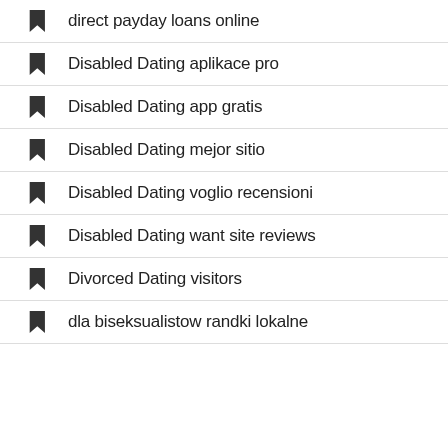direct payday loans online
Disabled Dating aplikace pro
Disabled Dating app gratis
Disabled Dating mejor sitio
Disabled Dating voglio recensioni
Disabled Dating want site reviews
Divorced Dating visitors
dla biseksualistow randki lokalne